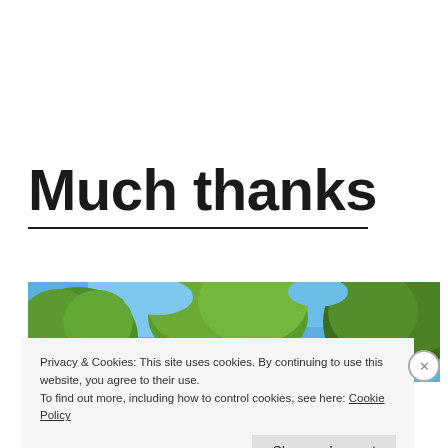Much thanks
[Figure (photo): Upward view of trees with green foliage against a blue sky]
Privacy & Cookies: This site uses cookies. By continuing to use this website, you agree to their use.
To find out more, including how to control cookies, see here: Cookie Policy